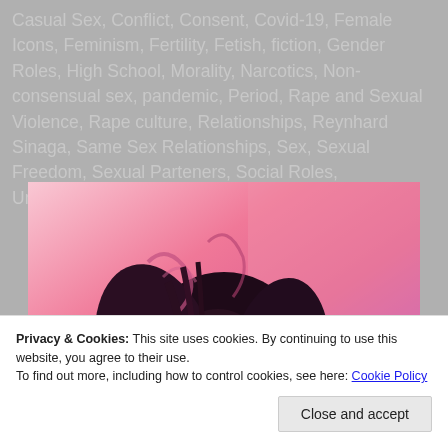Casual Sex, Conflict, Consent, Covid-19, Female Icons, Feminism, Fertility, Fetish, fiction, Gender Roles, High School, Morality, Narcotics, Non-consensual sex, pandemic, Period, Rape and Sexual Violence, Rape culture, Relationships, Reynhard Sinaga, Same Sex Relationships, Sex, Sexual Freedom, Sexual Parteners, Social Roles, Uncategorized, Warped
[Figure (photo): A person with pink/purple dreadlocks against a pink gradient background, partially obscuring their face]
Privacy & Cookies: This site uses cookies. By continuing to use this website, you agree to their use.
To find out more, including how to control cookies, see here: Cookie Policy